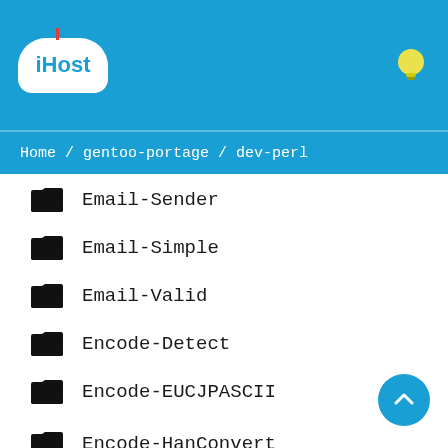[Figure (logo): iHost cloud hosting logo with white cloud shape on blue background, red antenna on top]
Home / gentoo-portage / dev-perl
Email-Sender
Email-Simple
Email-Valid
Encode-Detect
Encode-EUCJPASCII
Encode-HanConvert